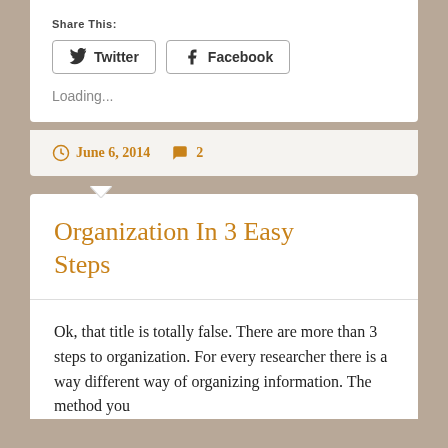Share this:
Twitter
Facebook
Loading...
June 6, 2014
2
Organization in 3 easy steps
Ok, that title is totally false. There are more than 3 steps to organization. For every researcher there is a way different way of organizing information. The method you